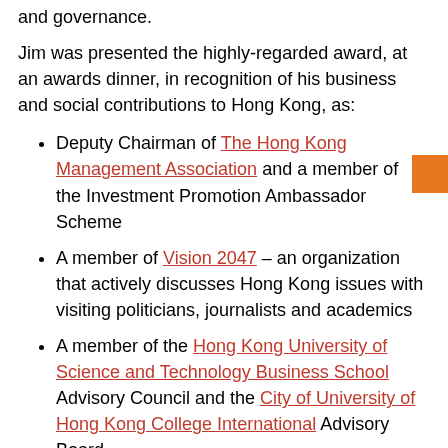and governance.
Jim was presented the highly-regarded award, at an awards dinner, in recognition of his business and social contributions to Hong Kong, as:
Deputy Chairman of The Hong Kong Management Association and a member of the Investment Promotion Ambassador Scheme
A member of Vision 2047 – an organization that actively discusses Hong Kong issues with visiting politicians, journalists and academics
A member of the Hong Kong University of Science and Technology Business School Advisory Council and the City of University of Hong Kong College International Advisory Board
In addition to the above, Jim also serves as Chairman or as a Board member for numerous charitable organizations. He is a member of the Executive Committee of the Society for the Promotion of Hospice Care, and is on the Advisory Board of the Salvation Army.
Please visit our website for Chairman report this...